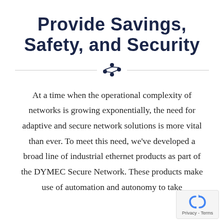Provide Savings, Safety, and Security
[Figure (illustration): Decorative divider with horizontal lines and a small network/dot icon in the center]
At a time when the operational complexity of networks is growing exponentially, the need for adaptive and secure network solutions is more vital than ever. To meet this need, we've developed a broad line of industrial ethernet products as part of the DYMEC Secure Network. These products make use of automation and autonomy to take